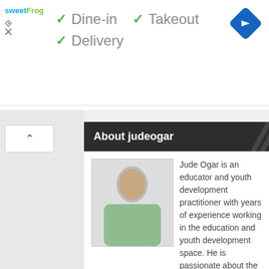[Figure (screenshot): Top ad banner with sweetFrog logo, dine-in/takeout/delivery checkmarks, and navigation diamond icon]
✓ Dine-in  ✓ Takeout
✓ Delivery
About judeogar
[Figure (photo): Profile photo of Jude Ogar, a man wearing a green shirt]
Jude Ogar is an educator and youth development practitioner with years of experience working in the education and youth development space. He is passionate about the development of youth in Africa.
Author Posts
Search here..